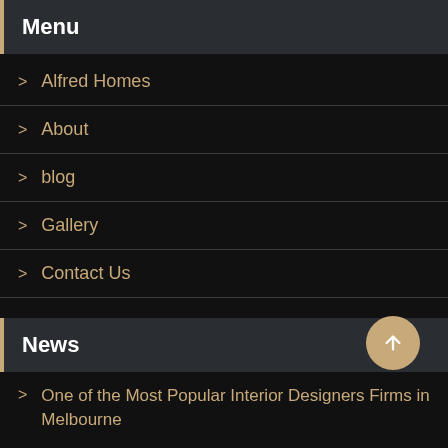Menu
> Alfred Homes
> About
> blog
> Gallery
> Contact Us
News
> One of the Most Popular Interior Designers Firms in Melbourne